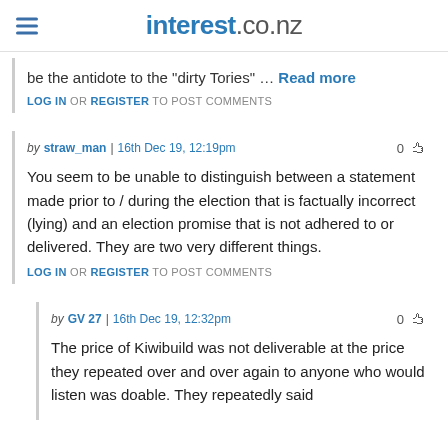interest.co.nz
be the antidote to the "dirty Tories" … Read more
LOG IN OR REGISTER TO POST COMMENTS
by straw_man | 16th Dec 19, 12:19pm
You seem to be unable to distinguish between a statement made prior to / during the election that is factually incorrect (lying) and an election promise that is not adhered to or delivered. They are two very different things.
LOG IN OR REGISTER TO POST COMMENTS
by GV 27 | 16th Dec 19, 12:32pm
The price of Kiwibuild was not deliverable at the price they repeated over and over again to anyone who would listen was doable. They repeatedly said